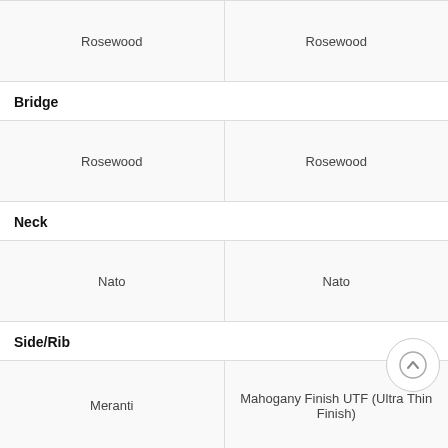| Rosewood | Rosewood |
| Bridge |  |
| Rosewood | Rosewood |
| Neck |  |
| Nato | Nato |
| Side/Rib |  |
| Meranti | Mahogany Finish UTF (Ultra Thin Finish) |